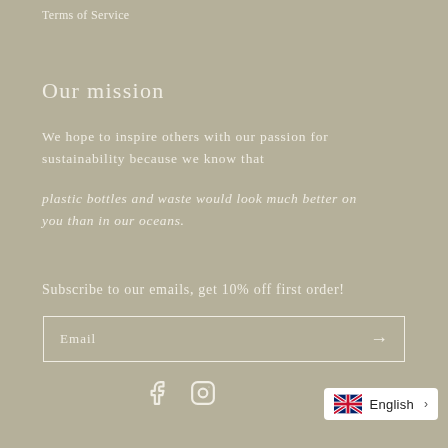Terms of Service
Our mission
We hope to inspire others with our passion for sustainability because we know that
plastic bottles and waste would look much better on you than in our oceans.
Subscribe to our emails, get 10% off first order!
Email
[Figure (illustration): Facebook and Instagram social media icons in white outline style]
[Figure (illustration): UK flag with English language label and right arrow chevron in a white rounded box]